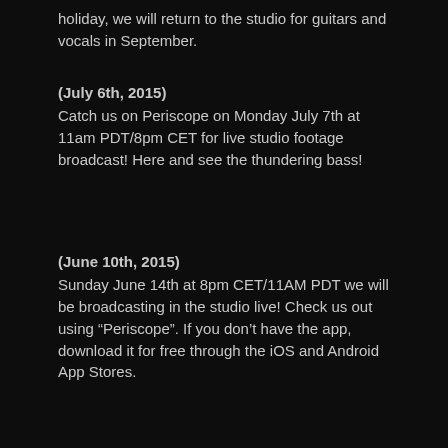holiday, we will return to the studio for guitars and vocals in September.
(July 6th, 2015)
Catch us on Periscope on Monday July 7th at 11am PDT/8pm CET for live studio footage broadcast! Here and see the thundering bass!
(June 10th, 2015)
Sunday June 14th at 8pm CET/11AM PDT we will be broadcasting in the studio live! Check us out using “Periscope”. If you don’t have the app, download it for free through the iOS and Android App Stores.